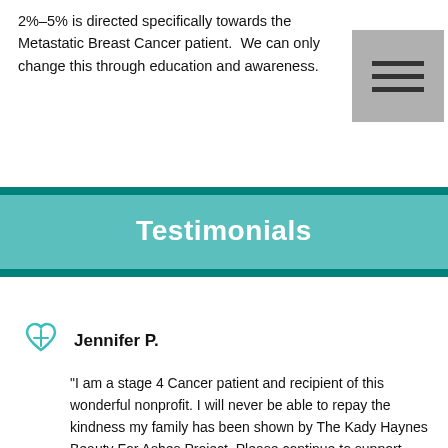2%–5% is directed specifically towards the Metastatic Breast Cancer patient.  We can only change this through education and awareness.
[Figure (other): Hamburger menu icon — three horizontal bars on a gray square background]
Testimonials
Jennifer P.
"I am a stage 4 Cancer patient and recipient of this wonderful nonprofit. I will never be able to repay the kindness my family has been shown by The Kady Haynes Beauty For Ashes Project. Please continue to support their mission in memory of Kady."